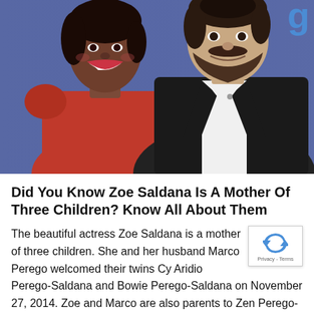[Figure (photo): A woman in a red dress and a man in a dark suit smiling together in front of a blue background with partial 'g' logo visible in corner.]
Did You Know Zoe Saldana Is A Mother Of Three Children? Know All About Them
The beautiful actress Zoe Saldana is a mother of three children. She and her husband Marco Perego welcomed their twins Cy Aridio Perego-Saldana and Bowie Perego-Saldana on November 27, 2014. Zoe and Marco are also parents to Zen Perego-Saldana. The